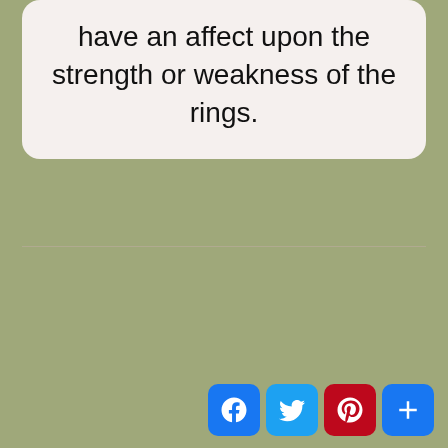have an affect upon the strength or weakness of the rings.
[Figure (other): Social sharing buttons: Facebook, Twitter, Pinterest, AddThis]